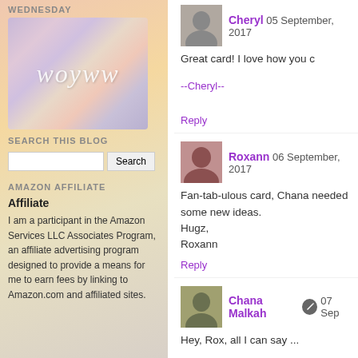WEDNESDAY
[Figure (illustration): WOYWW watercolor logo image with soft pink, blue, and purple tones]
SEARCH THIS BLOG
AMAZON AFFILIATE
Affiliate
I am a participant in the Amazon Services LLC Associates Program, an affiliate advertising program designed to provide a means for me to earn fees by linking to Amazon.com and affiliated sites.
Cheryl  05 September, 2017
Great card! I love how you c
--Cheryl--
Reply
Roxann  06 September, 2017
Fan-tab-ulous card, Chana needed some new ideas. Hugz, Roxann
Reply
Chana Malkah  07 Sep
Hey, Rox, all I can say ...